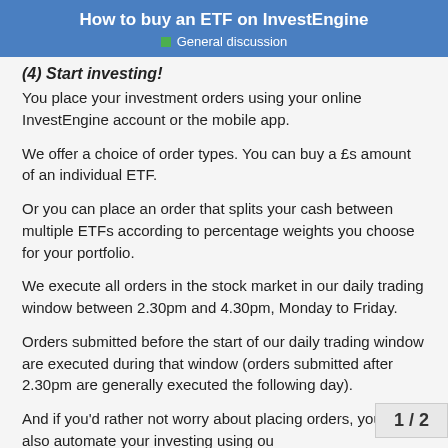How to buy an ETF on InvestEngine
General discussion
(4) Start investing!
You place your investment orders using your online InvestEngine account or the mobile app.
We offer a choice of order types. You can buy a £s amount of an individual ETF.
Or you can place an order that splits your cash between multiple ETFs according to percentage weights you choose for your portfolio.
We execute all orders in the stock market in our daily trading window between 2.30pm and 4.30pm, Monday to Friday.
Orders submitted before the start of our daily trading window are executed during that window (orders submitted after 2.30pm are generally executed the following day).
And if you'd rather not worry about placing orders, you can also automate your investing using ou
1 / 2